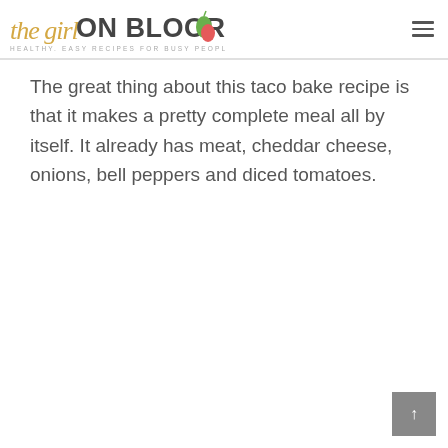the girl ON BLOOR — HEALTHY, EASY RECIPES FOR BUSY PEOPLE!
The great thing about this taco bake recipe is that it makes a pretty complete meal all by itself. It already has meat, cheddar cheese, onions, bell peppers and diced tomatoes.